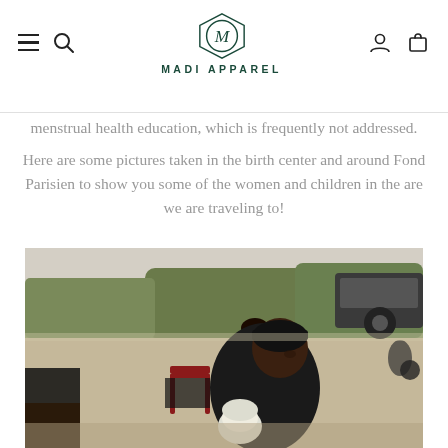MADI APPAREL
menstrual health education, which is frequently not addressed.
Here are some pictures taken in the birth center and around Fond Parisien to show you some of the women and children in the are we are traveling to!
[Figure (photo): Outdoor scene in Fond Parisien showing women and children. In the foreground, a young woman wearing a black top holds a baby in a white hat. Behind her, another woman in a pink shirt sits on a red chair. The background shows a dirt road, vegetation, and a vehicle.]